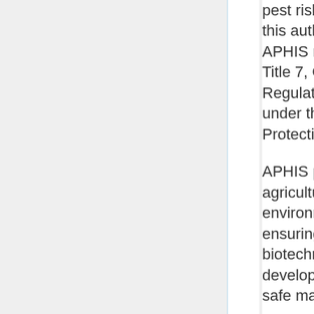pest risk. BRS exercises this authority through APHIS regulations in Title 7, Code of Federal Regulations, Part 340 under the Plant Protection Act of 2000.
APHIS protects agriculture and the environment by ensuring that biotechnology is developed and used in a safe manner. Through